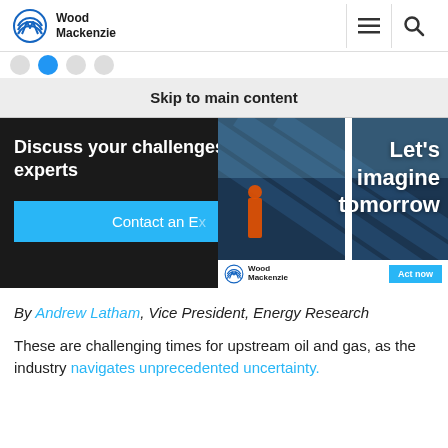Wood Mackenzie
Skip to main content
[Figure (screenshot): Wood Mackenzie website banner showing 'Discuss your challenges with experts' and a 'Contact an Expert' button on dark background, overlaid by an advertisement reading 'Let's imagine tomorrow' with a solar panel image, Wood Mackenzie logo, and 'Act now' button]
By Andrew Latham, Vice President, Energy Research
These are challenging times for upstream oil and gas, as the industry navigates unprecedented uncertainty.